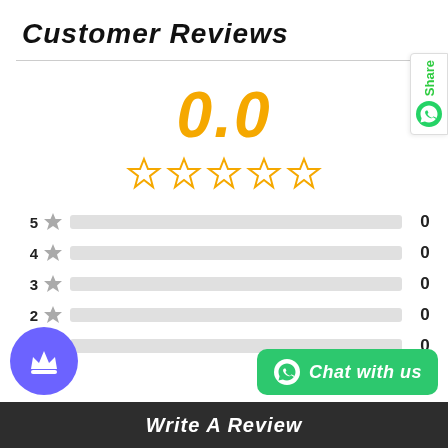Customer Reviews
[Figure (infographic): Large gold italic rating score '0.0' with five empty gold star outlines below it]
[Figure (infographic): Star rating breakdown bars: 5-star 0, 4-star 0, 3-star 0, 2-star 0, 1-star 0. All bars empty (light gray). Count of 0 for each row.]
Write A Review